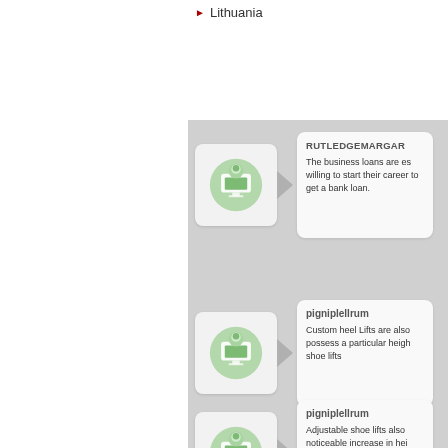Lithuania
[Figure (infographic): User profile card with green computer icon, username RUTLEDGEMARGAR, and text about business loans]
The business loans are es willing to start their career to get a bank loan.
[Figure (infographic): User profile card with green computer icon, username pigniplellrum, and text about custom heel lifts]
Custom heel Lifts are also possess a particular heigh shoe lifts
[Figure (infographic): User profile card with green computer icon, username pigniplellrum, and text about adjustable shoe lifts]
Adjustable shoe lifts also noticeable increase in hei